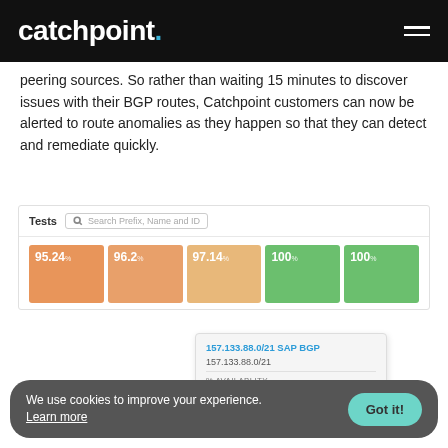catchpoint.
peering sources. So rather than waiting 15 minutes to discover issues with their BGP routes, Catchpoint customers can now be alerted to route anomalies as they happen so that they can detect and remediate quickly.
[Figure (screenshot): Catchpoint BGP test dashboard showing a Tests search bar and five colored tiles with availability percentages: 95.24%, 96.2%, 97.14%, 100%, 100%. A tooltip is open on the 97.14% tile showing: 157.133.88.0/21 SAP BGP, 157.133.88.0/21, % AVAILABLITY: 97.14]
We use cookies to improve your experience. Learn more